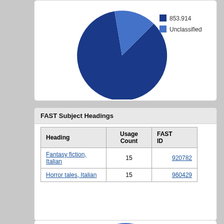[Figure (pie-chart): ]
FAST Subject Headings
| Heading | Usage Count | FAST ID |
| --- | --- | --- |
| Fantasy fiction, Italian | 15 | 920782 |
| Horror tales, Italian | 15 | 960429 |
[Figure (pie-chart): Partial pie chart visible at bottom of page]